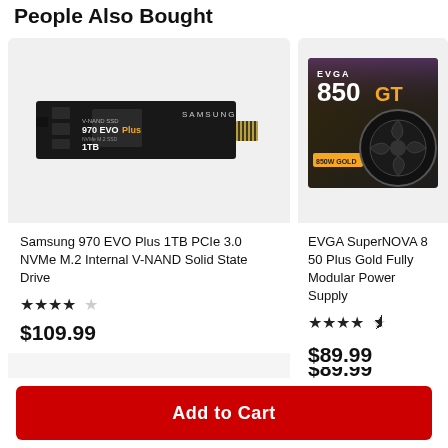People Also Bought
[Figure (photo): Samsung 970 EVO Plus 1TB M.2 NVMe SSD drive, black PCB with gold connector]
Samsung 970 EVO Plus 1TB PCIe 3.0 NVMe M.2 Internal V-NAND Solid State Drive
★★★★½
$109.99
[Figure (photo): EVGA SuperNOVA 850 GT Plus Gold Fully Modular Power Supply box, dark with yellow/purple styling and fan visible]
EVGA SuperNOVA 850 Plus Gold Fully Modular Power Supply
★★★★½
$89.99
Add to Cart